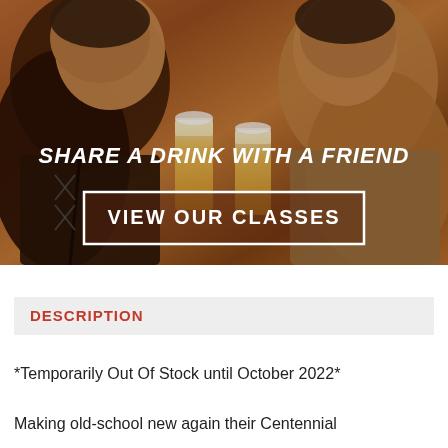[Figure (photo): Two young men smiling and clinking beer glasses together in a warm, amber-lit setting. Overlaid text reads 'SHARE A DRINK WITH A FRIEND' and a button 'VIEW OUR CLASSES'.]
DESCRIPTION
*Temporarily Out Of Stock until October 2022*
Making old-school new again their Centennial